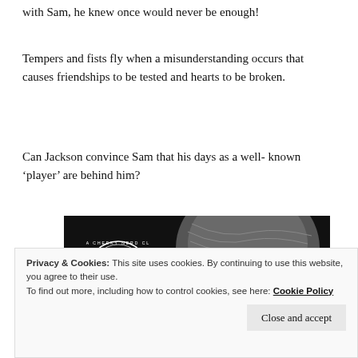with Sam, he knew once would never be enough!
Tempers and fists fly when a misunderstanding occurs that causes friendships to be tested and hearts to be broken.
Can Jackson convince Sam that his days as a well- known ‘player’ are behind him?
[Figure (photo): Dark background photo showing the back of a man's head with styled hair, and a circular logo with a goat illustration on the left side.]
Privacy & Cookies: This site uses cookies. By continuing to use this website, you agree to their use.
To find out more, including how to control cookies, see here: Cookie Policy
Close and accept